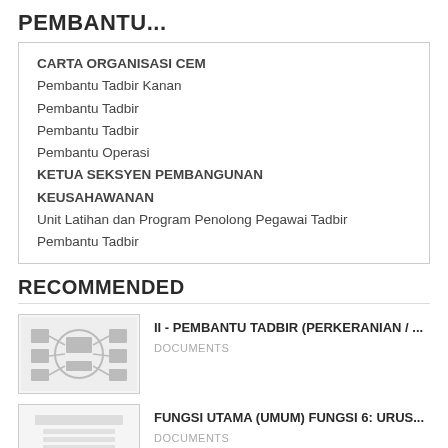PEMBANTU...
CARTA ORGANISASI CEM
Pembantu Tadbir Kanan
Pembantu Tadbir
Pembantu Tadbir
Pembantu Operasi
KETUA SEKSYEN PEMBANGUNAN KEUSAHAWANAN
Unit Latihan dan Program Penolong Pegawai Tadbir
Pembantu Tadbir
RECOMMENDED
[Figure (other): Thumbnail image of a document with a circular/organizational chart diagram]
II - PEMBANTU TADBIR (PERKERANIAN / ...
DOCUMENTS
[Figure (other): Thumbnail image of a text document with title and lines]
FUNGSI UTAMA (UMUM) FUNGSI 6: URUS...
DOCUMENTS